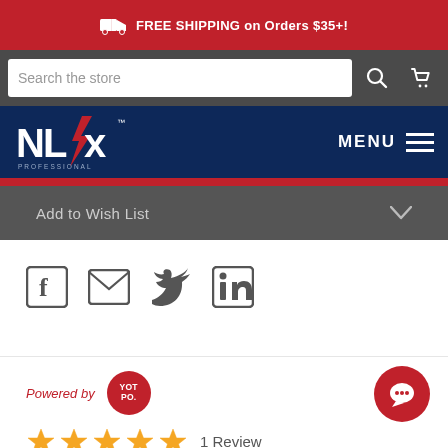🚚 FREE SHIPPING on Orders $35+!
Search the store
[Figure (logo): NLFX Professional logo — white and red text with lightning bolt graphic on dark navy background]
MENU
Add to Wish List
[Figure (infographic): Social sharing icons: Facebook, Email, Twitter, LinkedIn]
Powered by YOTPO
1 Review